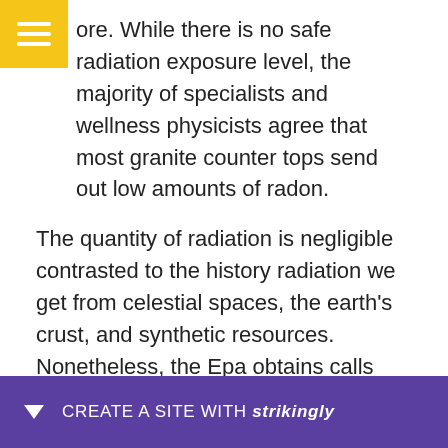ore. While there is no safe radiation exposure level, the majority of specialists and wellness physicists agree that most granite counter tops send out low amounts of radon.
The quantity of radiation is negligible contrasted to the history radiation we get from celestial spaces, the earth's crust, and synthetic resources. Nonetheless, the Epa obtains calls from concerned house owners and also radon inspectors relating to the radiation degrees of granite countertops. Fortunately is that granite emits reduced levels of radon [text obscured] unco[bscured]ps, mak[obscured]
[Figure (other): Strikingly website builder promotional bar at bottom of screen with purple background, dropdown arrow, and text 'CREATE A SITE WITH strikingly']